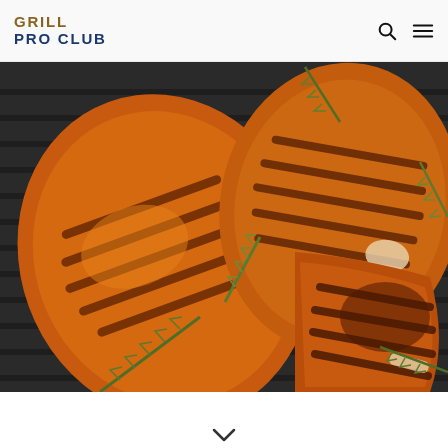GRILL PRO CLUB
[Figure (photo): Overhead close-up of grilled pork chops with char marks on a cast iron grill pan, garnished with fresh rosemary sprigs. Multiple pieces of golden-brown grilled meat visible with dark grill marks.]
[Figure (other): Scroll-down arrow icon at the bottom center of the page]